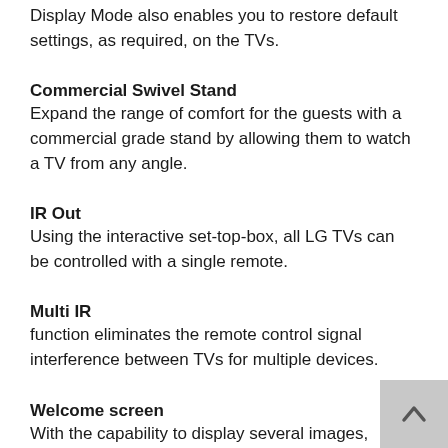Display Mode also enables you to restore default settings, as required, on the TVs.
Commercial Swivel Stand
Expand the range of comfort for the guests with a commercial grade stand by allowing them to watch a TV from any angle.
IR Out
Using the interactive set-top-box, all LG TVs can be controlled with a single remote.
Multi IR
function eliminates the remote control signal interference between TVs for multiple devices.
Welcome screen
With the capability to display several images, Commercial Lite TVs allow for a greater variation